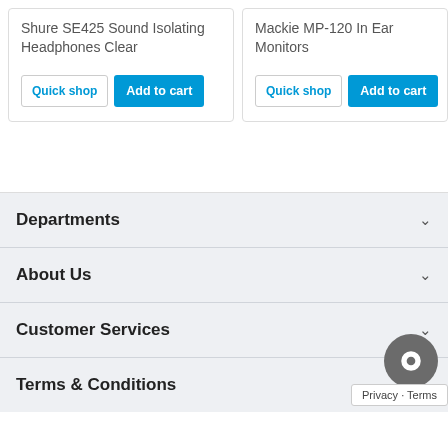Shure SE425 Sound Isolating Headphones Clear
Mackie MP-120 In Ear Monitors
Departments
About Us
Customer Services
Terms & Conditions